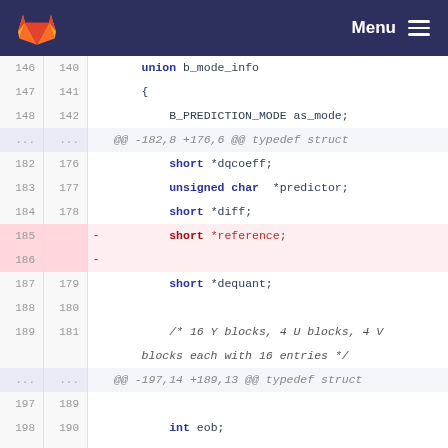[Figure (screenshot): GitLab navigation bar with fox/flame logo on left and Menu hamburger icon on right, dark navy background.]
Code diff view showing C source code changes. Lines 146-201 (old) and 140-193 (new). Includes union b_mode_info struct members: B_PREDICTION_MODE as_mode, short *dqcoeff, unsigned char *predictor, short *diff, short *reference (removed), short *dequant, comment about 16 Y blocks, int eob, B_MODE_INFO bmi (removed/replaced with union b_mode_info bmi), and closing } BLOCKD;